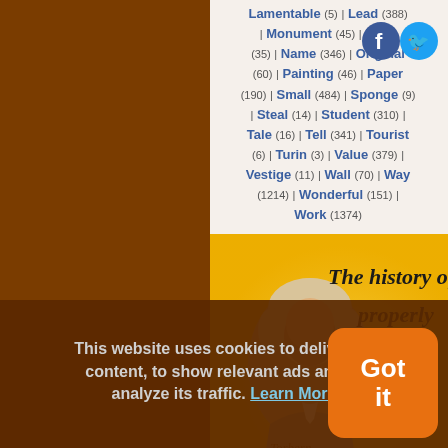Lamentable (5) | Lead (388) | Monument (45) | Mysterious (35) | Name (346) | Original (60) | Painting (46) | Paper (190) | Small (484) | Sponge (9) | Steal (14) | Student (310) | Tale (16) | Tell (341) | Tourist (6) | Turin (3) | Value (379) | Vestige (11) | Wall (70) | Way (1214) | Wonderful (151) | Work (1374)
[Figure (illustration): Quote image with portrait of a historical figure (possibly Kant) on yellow background with text 'The history of properly the my the ob and the' and 'More science quotes at Tod']
This website uses cookies to deliver its content, to show relevant ads and to analyze its traffic. Learn More
[Figure (other): Got it button - orange rounded rectangle]